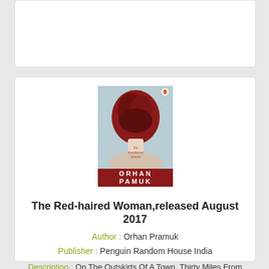Add To Booklist
[Figure (illustration): Book cover of The Red-haired Woman by Orhan Pamuk, showing back of woman with red hair, title text and author name ORHAN PAMUK at bottom]
The Red-haired Woman,released August 2017
Author : Orhan Pramuk
Publisher : Penguin Random House India
Description : On The Outskirts Of A Town, Thirty Miles From Istanbul, A Master Well-Digger And His Young Apprentic...